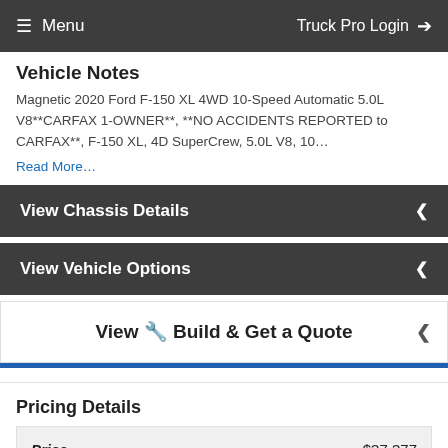Menu  Truck Pro Login
Vehicle Notes
Magnetic 2020 Ford F-150 XL 4WD 10-Speed Automatic 5.0L V8**CARFAX 1-OWNER**, **NO ACCIDENTS REPORTED to CARFAX**, F-150 XL, 4D SuperCrew, 5.0L V8, 10…
Read More…
View Chassis Details
View Vehicle Options
View 🔧 Build & Get a Quote
Pricing Details
| Price | $37,377 |
| --- | --- |
| Price | $37,377 |
Price includes price of the Build & G…